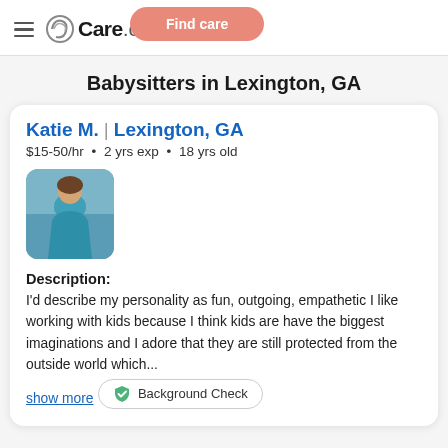[Figure (logo): Care.com logo with hamburger menu and Find care button]
Babysitters in Lexington, GA
Katie M. | Lexington, GA
$15-50/hr • 2 yrs exp • 18 yrs old
[Figure (photo): Profile photo of Katie M., a young woman in a teal top outdoors]
Description:
I'd describe my personality as fun, outgoing, empathetic I like working with kids because I think kids are have the biggest imaginations and I adore that they are still protected from the outside world which...
show more
Background Check